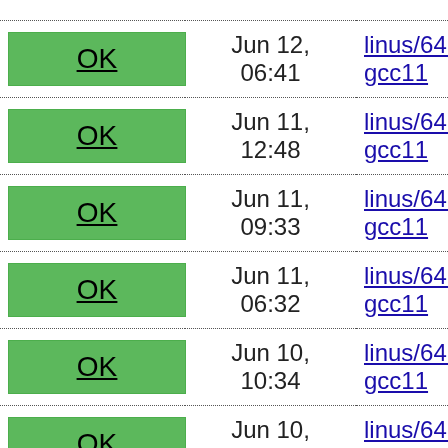| Status | Date | Branch/Config |
| --- | --- | --- |
| OK | Jun 12, 06:41 | linus/64r2_defcon gcc11 |
| OK | Jun 11, 12:48 | linus/64r2_defcon gcc11 |
| OK | Jun 11, 09:33 | linus/64r2_defcon gcc11 |
| OK | Jun 11, 06:32 | linus/64r2_defcon gcc11 |
| OK | Jun 10, 10:34 | linus/64r2_defcon gcc11 |
| OK | Jun 10, 07:15 | linus/64r2_defcon gcc11 |
| OK | Jun 9, 08:17 | linus/64r2_defcon gcc11 |
| OK | Jun 9, 04:20 | linus/64r2_defcon gcc11 |
| OK | Jun 8, | linus/64r2_defcon |